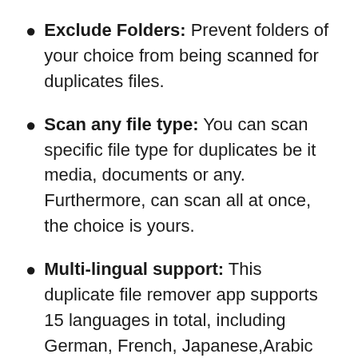Exclude Folders: Prevent folders of your choice from being scanned for duplicates files.
Scan any file type: You can scan specific file type for duplicates be it media, documents or any. Furthermore, can scan all at once, the choice is yours.
Multi-lingual support: This duplicate file remover app supports 15 languages in total, including German, French, Japanese,Arabic and many more.
Mark Options: This Duplicate Files Fixer and Remover app provide 4 alternatives to mark duplicates i.e. ‘Mark All except First’, ‘Mark All